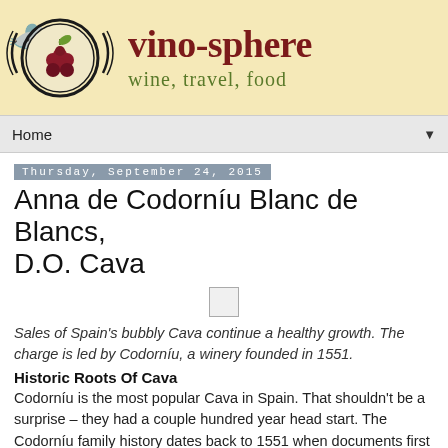[Figure (logo): Vino-sphere blog banner with decorative grape logo on cream/yellow background, site name 'vino-sphere' in dark red serif font and subtitle 'wine, travel, food' in olive green]
Home ▼
Thursday, September 24, 2015
Anna de Codorníu Blanc de Blancs, D.O. Cava
[Figure (photo): Small placeholder image box]
Sales of Spain's bubbly Cava continue a healthy growth. The charge is led by Codorníu, a winery founded in 1551.
Historic Roots Of Cava
Codorníu is the most popular Cava in Spain. That shouldn't be a surprise – they had a couple hundred year head start. The Codorníu family history dates back to 1551 when documents first refer to Jaume Codorníu's vineyards and his winemaking activities.